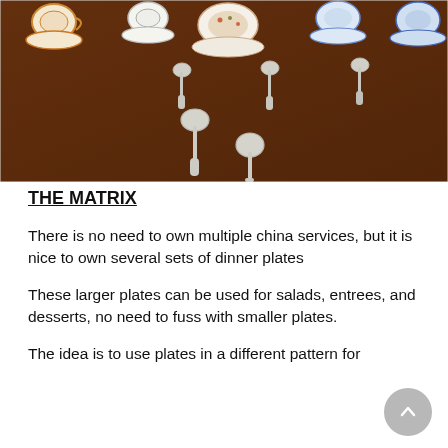[Figure (photo): Photo of a wooden table with multiple china cups, saucers, and silver spoons arranged on it, viewed from above.]
THE MATRIX
There is no need to own multiple china services, but it is nice to own several sets of dinner plates
These larger plates can be used for salads, entrees, and desserts, no need to fuss with smaller plates.
The idea is to use plates in a different pattern for